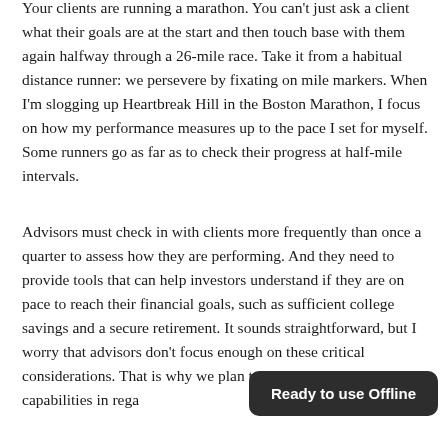Your clients are running a marathon. You can't just ask a client what their goals are at the start and then touch base with them again halfway through a 26-mile race. Take it from a habitual distance runner: we persevere by fixating on mile markers. When I'm slogging up Heartbreak Hill in the Boston Marathon, I focus on how my performance measures up to the pace I set for myself. Some runners go as far as to check their progress at half-mile intervals.
Advisors must check in with clients more frequently than once a quarter to assess how they are performing. And they need to provide tools that can help investors understand if they are on pace to reach their financial goals, such as sufficient college savings and a secure retirement. It sounds straightforward, but I worry that advisors don't focus enough on these critical considerations. That is why we plan to enhance our digital capabilities in regards to tracking and analyzing client behaviors.